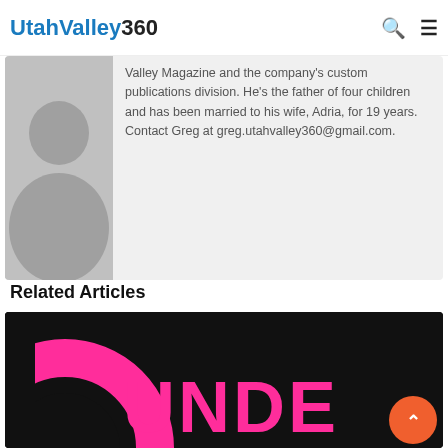UtahValley360
Valley Magazine and the company's custom publications division. He's the father of four children and has been married to his wife, Adria, for 19 years. Contact Greg at greg.utahvalley360@gmail.com.
Related Articles
[Figure (photo): Black background image with pink/magenta arc logo and large pink text reading UNDE (partially cropped), with an orange scroll-to-top button in the lower right.]